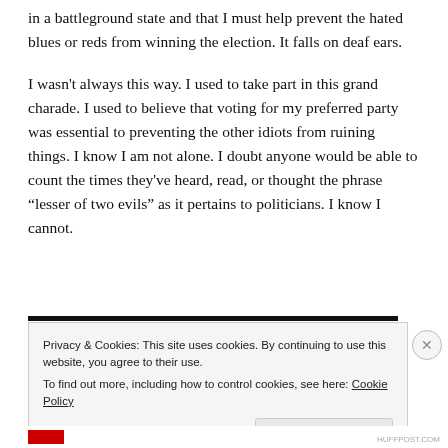in a battleground state and that I must help prevent the hated blues or reds from winning the election. It falls on deaf ears.
I wasn't always this way. I used to take part in this grand charade. I used to believe that voting for my preferred party was essential to preventing the other idiots from ruining things. I know I am not alone. I doubt anyone would be able to count the times they've heard, read, or thought the phrase “lesser of two evils” as it pertains to politicians. I know I cannot.
Privacy & Cookies: This site uses cookies. By continuing to use this website, you agree to their use.
To find out more, including how to control cookies, see here: Cookie Policy
Close and accept